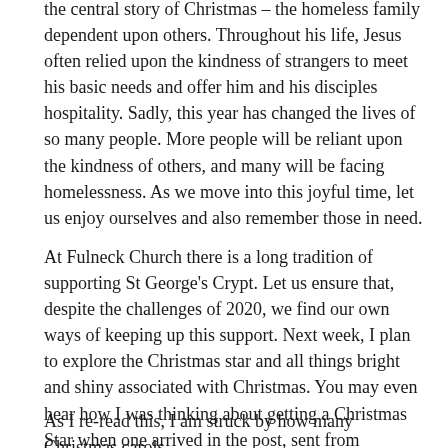the central story of Christmas – the homeless family dependent upon others. Throughout his life, Jesus often relied upon the kindness of strangers to meet his basic needs and offer him and his disciples hospitality. Sadly, this year has changed the lives of so many people. More people will be reliant upon the kindness of others, and many will be facing homelessness. As we move into this joyful time, let us enjoy ourselves and also remember those in need.
At Fulneck Church there is a long tradition of supporting St George's Crypt. Let us ensure that, despite the challenges of 2020, we find our own ways of keeping up this support. Next week, I plan to explore the Christmas star and all things bright and shiny associated with Christmas. You may even hear how I was thinking about getting a Christmas Star when one arrived in the post, sent from Germany by a dear friend.
As I re-read this, I am struck by how many Christmas carols